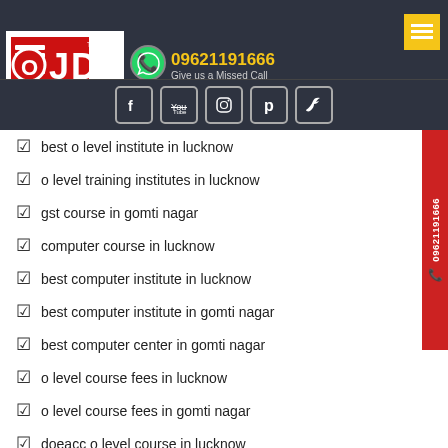[Figure (logo): OJD Computer Education logo with red and white design, phone number 09621191666, WhatsApp icon, and social media icons (Facebook, YouTube, Instagram, Pinterest, Twitter) on dark background header]
best o level institute in lucknow
o level training institutes in lucknow
gst course in gomti nagar
computer course in lucknow
best computer institute in lucknow
best computer institute in gomti nagar
best computer center in gomti nagar
o level course fees in lucknow
o level course fees in gomti nagar
doeacc o level course in lucknow
ccc in lucknow